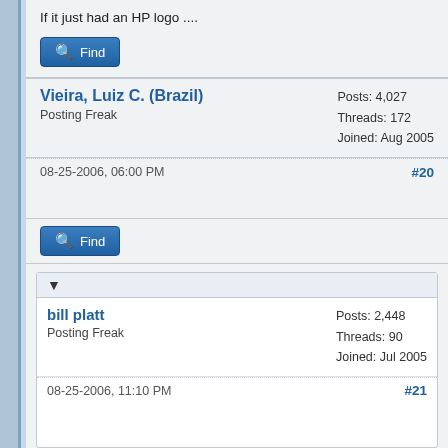If it just had an HP logo ....
Find
Vieira, Luiz C. (Brazil)
Posting Freak
Posts: 4,027
Threads: 172
Joined: Aug 2005
08-25-2006, 06:00 PM  #20
Find
▼
bill platt
Posting Freak
Posts: 2,448
Threads: 90
Joined: Jul 2005
08-25-2006, 11:10 PM  #21